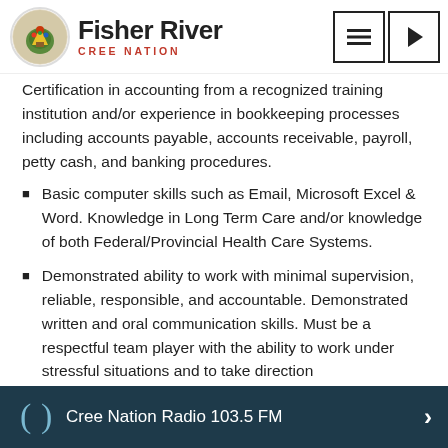Fisher River CREE NATION
Certification in accounting from a recognized training institution and/or experience in bookkeeping processes including accounts payable, accounts receivable, payroll, petty cash, and banking procedures.
Basic computer skills such as Email, Microsoft Excel & Word. Knowledge in Long Term Care and/or knowledge of both Federal/Provincial Health Care Systems.
Demonstrated ability to work with minimal supervision, reliable, responsible, and accountable. Demonstrated written and oral communication skills. Must be a respectful team player with the ability to work under stressful situations and to take direction
Cree Nation Radio 103.5 FM